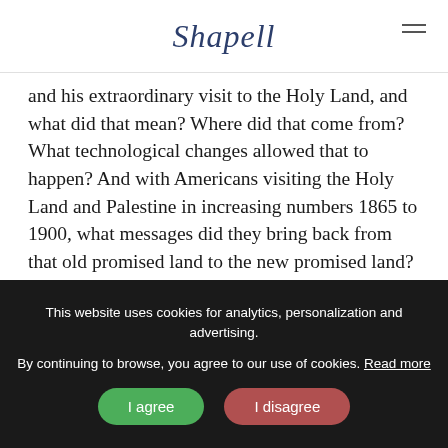Shapell
and his extraordinary visit to the Holy Land, and what did that mean? Where did that come from? What technological changes allowed that to happen? And with Americans visiting the Holy Land and Palestine in increasing numbers 1865 to 1900, what messages did they bring back from that old promised land to the new promised land? What reasons did they have for going? And what can we sitting in a modern 21st century classroom learn about that 19th century experience?
Gil Troy:
This website uses cookies for analytics, personalization and advertising. By continuing to browse, you agree to our use of cookies. Read more
I agree  I disagree